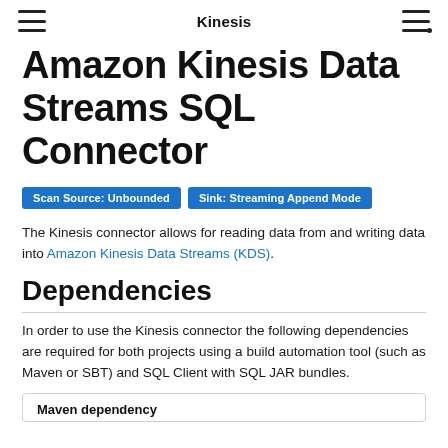Kinesis
Amazon Kinesis Data Streams SQL Connector
Scan Source: Unbounded   Sink: Streaming Append Mode
The Kinesis connector allows for reading data from and writing data into Amazon Kinesis Data Streams (KDS).
Dependencies
In order to use the Kinesis connector the following dependencies are required for both projects using a build automation tool (such as Maven or SBT) and SQL Client with SQL JAR bundles.
Maven dependency